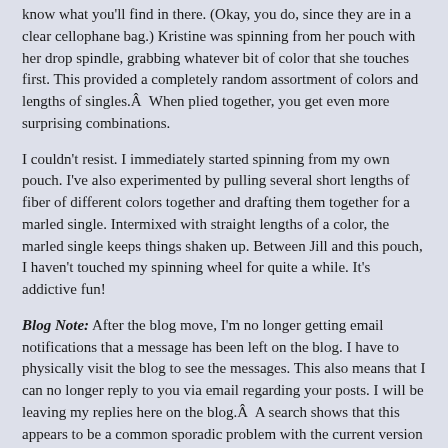know what you'll find in there. (Okay, you do, since they are in a clear cellophane bag.) Kristine was spinning from her pouch with her drop spindle, grabbing whatever bit of color that she touches first. This provided a completely random assortment of colors and lengths of singles.Â  When plied together, you get even more surprising combinations.
I couldn't resist. I immediately started spinning from my own pouch. I've also experimented by pulling several short lengths of fiber of different colors together and drafting them together for a marled single. Intermixed with straight lengths of a color, the marled single keeps things shaken up. Between Jill and this pouch, I haven't touched my spinning wheel for quite a while. It's addictive fun!
Blog Note: After the blog move, I'm no longer getting email notifications that a message has been left on the blog. I have to physically visit the blog to see the messages. This also means that I can no longer reply to you via email regarding your posts. I will be leaving my replies here on the blog.Â  A search shows that this appears to be a common sporadic problem with the current version of WordPress. It may go away on its own. I just won't know when that might be.
30 Mar, 2009